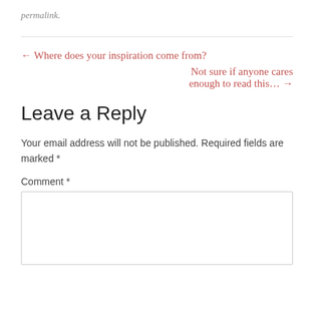permalink.
← Where does your inspiration come from?
Not sure if anyone cares enough to read this... →
Leave a Reply
Your email address will not be published. Required fields are marked *
Comment *